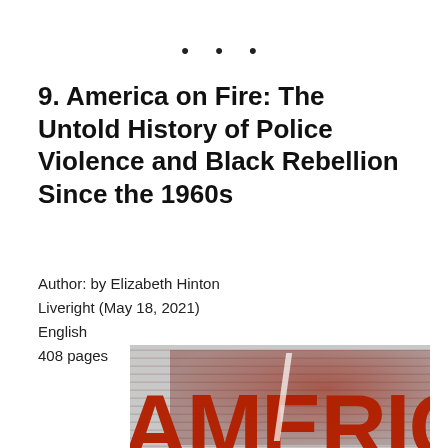• • •
9. America on Fire: The Untold History of Police Violence and Black Rebellion Since the 1960s
Author: by Elizabeth Hinton
Liveright (May 18, 2021)
English
408 pages
[Figure (photo): Book cover of 'America on Fire' showing large red bold letters spelling AMERICA with protest scene imagery within the letterforms, on a grey background]